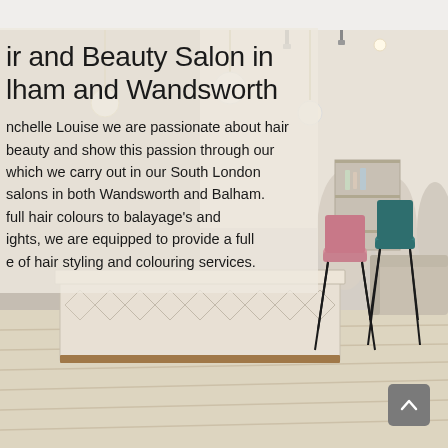[Figure (photo): Interior of a modern hair and beauty salon in South London, showing a reception desk with geometric tile pattern, pendant globe lights hanging from the ceiling, colourful velvet bar stools (pink and teal), a sofa, shelving with products, and light wood flooring.]
ir and Beauty Salon in
lham and Wandsworth
nchelle Louise we are passionate about hair
beauty and show this passion through our
which we carry out in our South London
salons in both Wandsworth and Balham.
full hair colours to balayage's and
ights, we are equipped to provide a full
e of hair styling and colouring services.